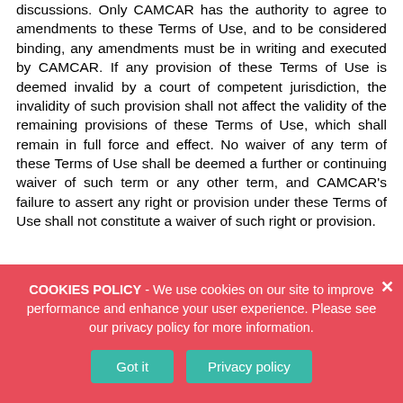discussions. Only CAMCAR has the authority to agree to amendments to these Terms of Use, and to be considered binding, any amendments must be in writing and executed by CAMCAR. If any provision of these Terms of Use is deemed invalid by a court of competent jurisdiction, the invalidity of such provision shall not affect the validity of the remaining provisions of these Terms of Use, which shall remain in full force and effect. No waiver of any term of these Terms of Use shall be deemed a further or continuing waiver of such term or any other term, and CAMCAR's failure to assert any right or provision under these Terms of Use shall not constitute a waiver of such right or provision.
COOKIES POLICY - We use cookies on our site to improve performance and enhance your user experience. Please see our privacy policy for more information.